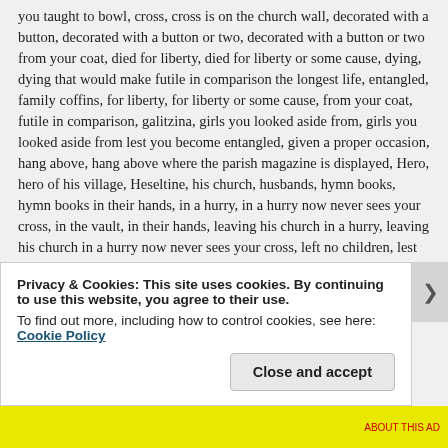you taught to bowl, cross, cross is on the church wall, decorated with a button, decorated with a button or two, decorated with a button or two from your coat, died for liberty, died for liberty or some cause, dying, dying that would make futile in comparison the longest life, entangled, family coffins, for liberty, for liberty or some cause, from your coat, futile in comparison, galitzina, girls you looked aside from, girls you looked aside from lest you become entangled, given a proper occasion, hang above, hang above where the parish magazine is displayed, Hero, hero of his village, Heseltine, his church, husbands, hymn books, hymn books in their hands, in a hurry, in a hurry now never sees your cross, in the vault, in their hands, leaving his church in a hurry, leaving his church in a hurry now never sees your cross, left no children, lest you become entangled, liberty, life, longest life, look beyond, look beyond their solid husbands, looked aside from, make futile, make futile in comparison, make futile in comparison the longest life. married. married now. married now look beyond their solid
Privacy & Cookies: This site uses cookies. By continuing to use this website, you agree to their use. To find out more, including how to control cookies, see here: Cookie Policy